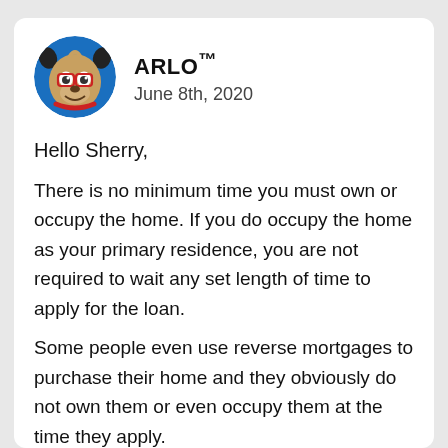[Figure (illustration): Cartoon dog mascot avatar with blue circular background, wearing glasses and a red collar]
ARLO™
June 8th, 2020
Hello Sherry,
There is no minimum time you must own or occupy the home. If you do occupy the home as your primary residence, you are not required to wait any set length of time to apply for the loan.
Some people even use reverse mortgages to purchase their home and they obviously do not own them or even occupy them at the time they apply.